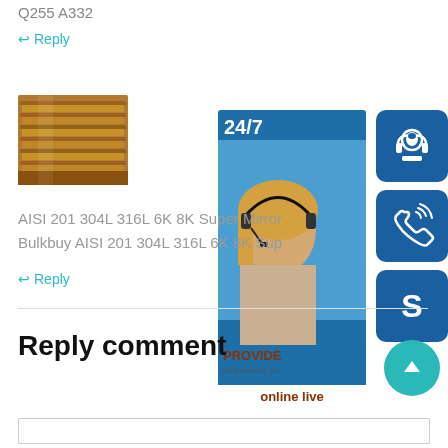Q255 A332
↩ Reply
[Figure (photo): Stack of steel/metal plates photographed from the side showing layered brown/rusty metal sheets]
[Figure (infographic): Customer service widget showing 24/7 support banner with woman wearing headset, PROVIDE Empowering Customers text, online live button, and three icon buttons: headset/support, phone, and Skype icons on blue rounded square backgrounds]
AISI 201 304L 316L 6K 8K Super Mirror
Bulkbuy AISI 201 304L 316L 6K 8K Sup
↩ Reply
Reply comment